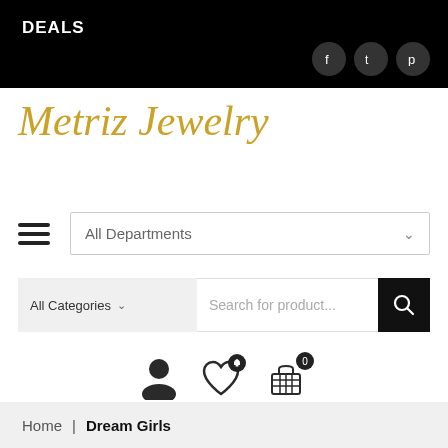DEALS
Metriz Jewelry
All Departments
All Categories  Search for product...
Home | Dream Girls